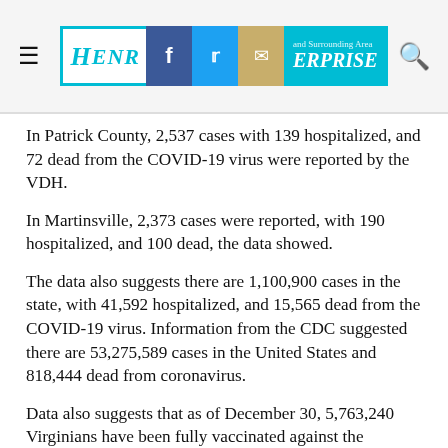Henry County Enterprise newspaper header with social media icons (Facebook, Twitter, Email) and search icon
In Patrick County, 2,537 cases with 139 hospitalized, and 72 dead from the COVID-19 virus were reported by the VDH.
In Martinsville, 2,373 cases were reported, with 190 hospitalized, and 100 dead, the data showed.
The data also suggests there are 1,100,900 cases in the state, with 41,592 hospitalized, and 15,565 dead from the COVID-19 virus. Information from the CDC suggested there are 53,275,589 cases in the United States and 818,444 dead from coronavirus.
Data also suggests that as of December 30, 5,763,240 Virginians have been fully vaccinated against the COVID-19 virus.